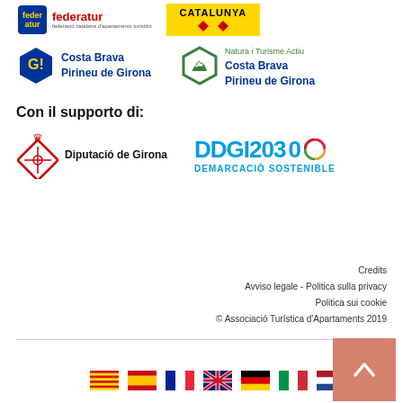[Figure (logo): Federatur logo - federació catalana d'apartaments turístics]
[Figure (logo): Catalunya logo - yellow background with red diamonds]
[Figure (logo): Costa Brava Pirineu de Girona logo (G! badge, blue text)]
[Figure (logo): Natura i Turisme Actiu Costa Brava Pirineu de Girona logo (green mountain badge)]
Con il supporto di:
[Figure (logo): Diputació de Girona logo with red crown and diamond symbol]
[Figure (logo): DDGI2030 Demarcació Sostenible logo]
Credits
Avviso legale - Politica sulla privacy
Politica sui cookie
© Associació Turística d'Apartaments 2019
[Figure (infographic): Language selector flags: Catalan, Spanish, French, English, German, Italian, Dutch]
[Figure (other): Back to top button - salmon/rose colored square with upward arrow]